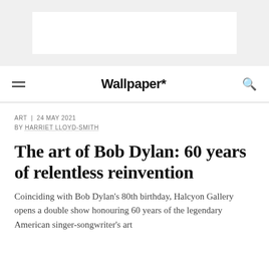[Figure (other): Advertisement placeholder banner — white rectangle on grey background]
Wallpaper*
ART | 24 MAY 2021
BY HARRIET LLOYD-SMITH
The art of Bob Dylan: 60 years of relentless reinvention
Coinciding with Bob Dylan's 80th birthday, Halcyon Gallery opens a double show honouring 60 years of the legendary American singer-songwriter's art